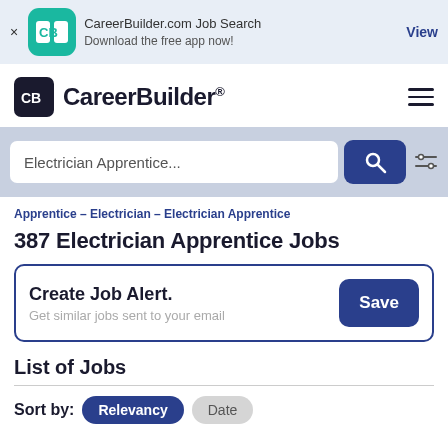[Figure (screenshot): App download banner with CareerBuilder icon, text 'CareerBuilder.com Job Search / Download the free app now!' and a View link]
[Figure (logo): CareerBuilder logo with CB icon and hamburger menu]
[Figure (screenshot): Search bar with text 'Electrician Apprentice...' and blue search button with filter icon]
Apprentice – Electrician – Electrician Apprentice
387 Electrician Apprentice Jobs
Create Job Alert.
Get similar jobs sent to your email
List of Jobs
Sort by:  Relevancy   Date